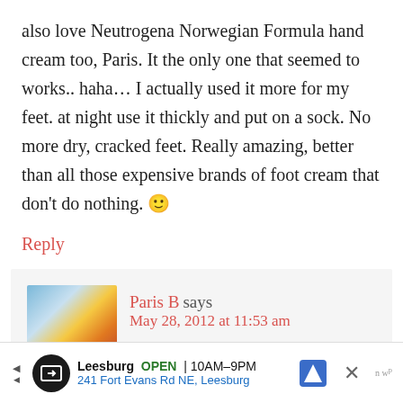also love Neutrogena Norwegian Formula hand cream too, Paris. It the only one that seemed to works.. haha… I actually used it more for my feet. at night use it thickly and put on a sock. No more dry, cracked feet. Really amazing, better than all those expensive brands of foot cream that don't do nothing. 🙂
Reply
Paris B says
May 28, 2012 at 11:53 am
[Figure (photo): Avatar photo of Paris B commenter]
Leesburg OPEN 10AM–9PM 241 Fort Evans Rd NE, Leesburg